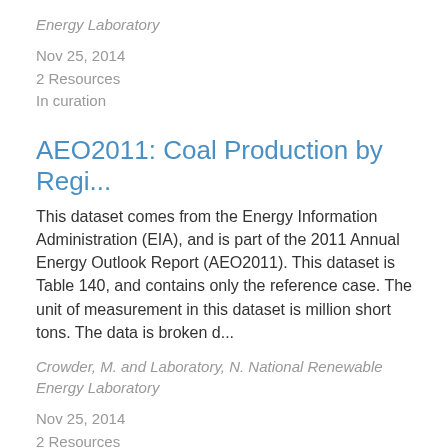Energy Laboratory
Nov 25, 2014
2 Resources
In curation
AEO2011: Coal Production by Regi...
This dataset comes from the Energy Information Administration (EIA), and is part of the 2011 Annual Energy Outlook Report (AEO2011). This dataset is Table 140, and contains only the reference case. The unit of measurement in this dataset is million short tons. The data is broken d...
Crowder, M. and Laboratory, N. National Renewable Energy Laboratory
Nov 25, 2014
2 Resources
In curation
AEO2011: Coal Supply, Disposition...